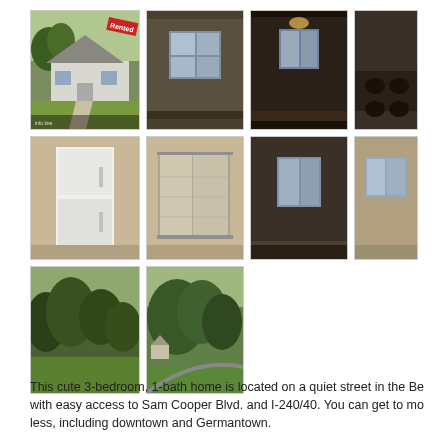[Figure (photo): Grid of 10 real estate photos showing exterior and interior of a 3-bedroom house. Row 1: exterior front of house with Rented badge, empty dark room with window, dark dining room with light fixture, partial kitchen. Row 2: white refrigerator in kitchen, bathroom with shower/sliding doors, empty bedroom with window, another room. Row 3: backyard/yard with trees, street view with trees.]
This cute 3-bedroom, 1-bath home is located on a quiet street in the Be with easy access to Sam Cooper Blvd. and I-240/40. You can get to mo less, including downtown and Germantown.